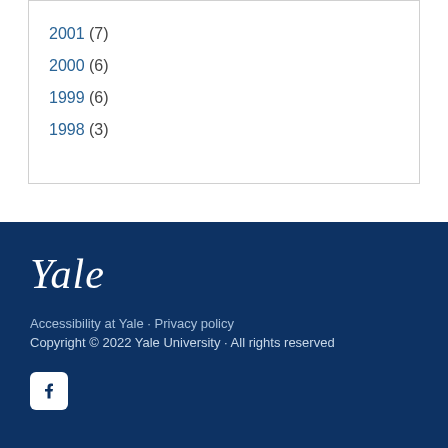2001 (7)
2000 (6)
1999 (6)
1998 (3)
Yale
Accessibility at Yale · Privacy policy
Copyright © 2022 Yale University · All rights reserved